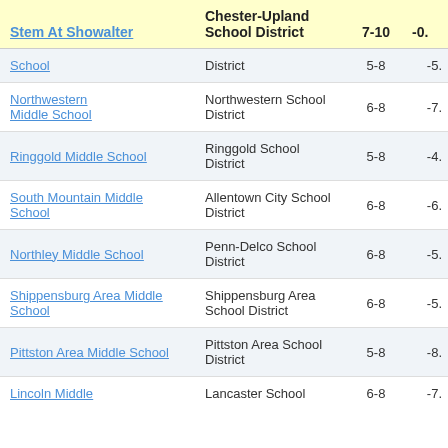| Stem At Showalter | Chester-Upland School District | 7-10 | -0. |
| --- | --- | --- | --- |
| School | District | 5-8 | -5. |
| Northwestern Middle School | Northwestern School District | 6-8 | -7. |
| Ringgold Middle School | Ringgold School District | 5-8 | -4. |
| South Mountain Middle School | Allentown City School District | 6-8 | -6. |
| Northley Middle School | Penn-Delco School District | 6-8 | -5. |
| Shippensburg Area Middle School | Shippensburg Area School District | 6-8 | -5. |
| Pittston Area Middle School | Pittston Area School District | 5-8 | -8. |
| Lincoln Middle | Lancaster School | 6-8 | -7. |